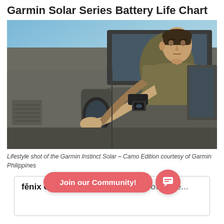Garmin Solar Series Battery Life Chart
[Figure (photo): Lifestyle shot of a man in an olive jacket wearing a Garmin Instinct Solar watch on his wrist, leaning out of a vehicle window, adjusting the side mirror. Sky background with sunset light. Garmin Instinct Solar - Camo Edition.]
Lifestyle shot of the Garmin Instinct Solar – Camo Edition courtesy of Garmin Philippines
fēnix 6 Solar Series — Duration of batte...